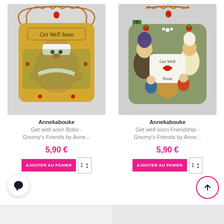[Figure (photo): Decorative plaque with a bandaged bear illustration and 'Get Well Soon' text, with copper wire hanger]
Annekabouke
Get well soon Bobo - Gnomy's Friends by Anne...
5,90 €
[Figure (photo): Decorative plaque with gnomes and bear illustration and 'Get Well Soon' text with heart, with copper wire hanger]
Annekabouke
Get well soon Friendship - Gnomy's Friends by Anne...
5,90 €